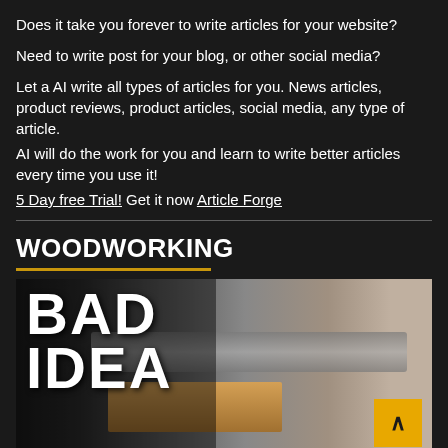Does it take you forever to write articles for your website?
Need to write post for your blog, or other social media?
Let a AI write all types of articles for you. News articles, product reviews, product articles, social media, any type of article.
AI will do the work for you and learn to write better articles every time you use it!
5 Day free Trial! Get it now Article Forge
WOODWORKING
[Figure (photo): Woodworking thumbnail image showing hands pressing a wood block on a table saw, with large text overlay reading BAD IDEA]